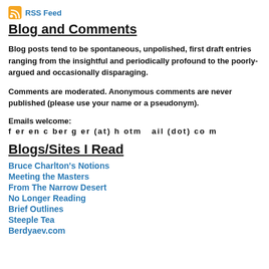RSS Feed
Blog and Comments
Blog posts tend to be spontaneous, unpolished, first draft entries ranging from the insightful and periodically profound to the poorly-argued and occasionally disparaging.
Comments are moderated. Anonymous comments are never published (please use your name or a pseudonym).
Emails welcome:
f er en c ber g er (at) h otm   ail (dot) co m
Blogs/Sites I Read
Bruce Charlton's Notions
Meeting the Masters
From The Narrow Desert
No Longer Reading
Brief Outlines
Steeple Tea
Berdyaev.com